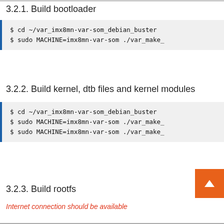3.2.1. Build bootloader
$ cd ~/var_imx8mn-var-som_debian_buster
$ sudo MACHINE=imx8mn-var-som ./var_make_
3.2.2. Build kernel, dtb files and kernel modules
$ cd ~/var_imx8mn-var-som_debian_buster
$ sudo MACHINE=imx8mn-var-som ./var_make_
$ sudo MACHINE=imx8mn-var-som ./var_make_
3.2.3. Build rootfs
Internet connection should be available